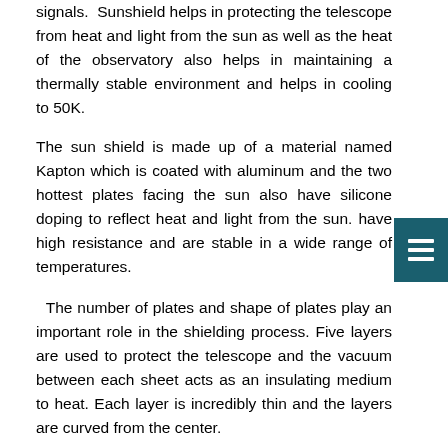signals. Sunshield helps in protecting the telescope from heat and light from the sun as well as the heat of the observatory also helps in maintaining a thermally stable environment and helps in cooling to 50K.
The sun shield is made up of a material named Kapton which is coated with aluminum and the two hottest plates facing the sun also have silicone doping to reflect heat and light from the sun. have high resistance and are stable in a wide range of temperatures.
The number of plates and shape of plates play an important role in the shielding process. Five layers are used to protect the telescope and the vacuum between each sheet acts as an insulating medium to heat. Each layer is incredibly thin and the layers are curved from the center.